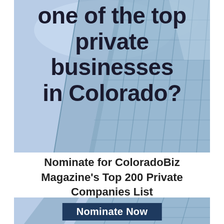[Figure (photo): Glass skyscraper building photographed from below against a light blue sky, with geometric glass panels and diagonal lines visible. Light blue and grey tones dominate.]
one of the top private businesses in Colorado?
Nominate for ColoradoBiz Magazine's Top 200 Private Companies List
[Figure (photo): Bottom portion of the same glass skyscraper building with a 'Nominate Now' button overlaid.]
Nominate Now